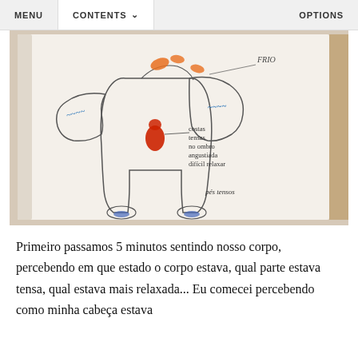MENU   CONTENTS   OPTIONS
[Figure (photo): A hand-drawn body outline on white paper with colored annotations marking body sensations. Orange marks at the top (head/shoulders), blue scribbled marks on both arms, a red shape in the torso area. Handwritten text notes in Portuguese: 'FRIO' near the top right, annotations near the torso reading 'costas tensas no ombro angustiada difícil relaxar', and 'pés tensos' near the feet. Blue marks at the feet.]
Primeiro passamos 5 minutos sentindo nosso corpo, percebendo em que estado o corpo estava, qual parte estava tensa, qual estava mais relaxada... Eu comecei percebendo como minha cabeça estava